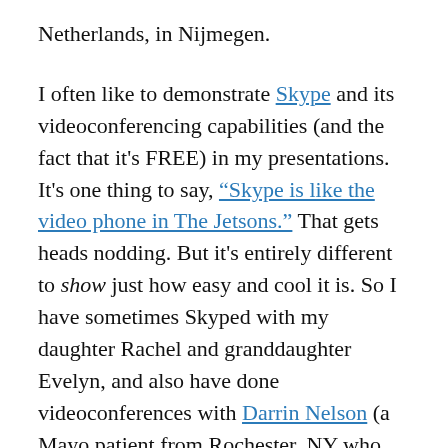Netherlands, in Nijmegen.
I often like to demonstrate Skype and its videoconferencing capabilities (and the fact that it's FREE) in my presentations. It's one thing to say, "Skype is like the video phone in The Jetsons." That gets heads nodding. But it's entirely different to show just how easy and cool it is. So I have sometimes Skyped with my daughter Rachel and granddaughter Evelyn, and also have done videoconferences with Darrin Nelson (a Mayo patient from Rochester, NY who shared his story about robotic heart surgery here, here, here and here on Sharing Mayo Clinic.) In those cases I had sent messages on Facebook (for Rachel) or Twitter (for Darrin)